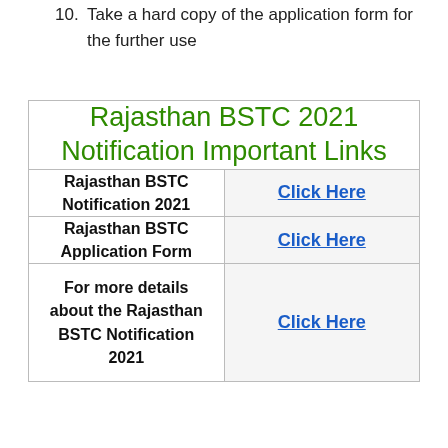10. Take a hard copy of the application form for the further use
| Rajasthan BSTC 2021 Notification Important Links |  |
| --- | --- |
| Rajasthan BSTC Notification 2021 | Click Here |
| Rajasthan BSTC Application Form | Click Here |
| For more details about the Rajasthan BSTC Notification 2021 | Click Here |